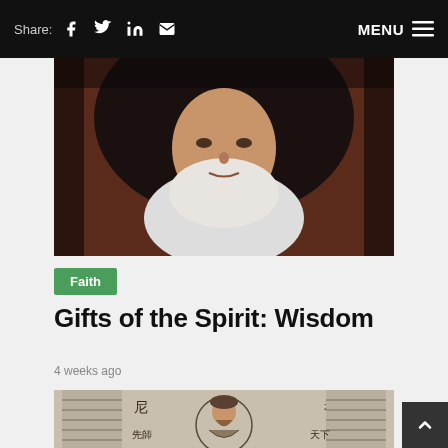Share: [Facebook] [Twitter] [LinkedIn] [Email]  MENU
[Figure (photo): Portrait painting of a nun wearing a black veil and white collar, looking directly at viewer, against a dark reddish-brown background.]
Faith
Gifts of the Spirit: Wisdom
4 weeks ago
[Figure (illustration): Black and white engraving of a bearded figure with a halo surrounded by Chinese characters and bookshelves.]